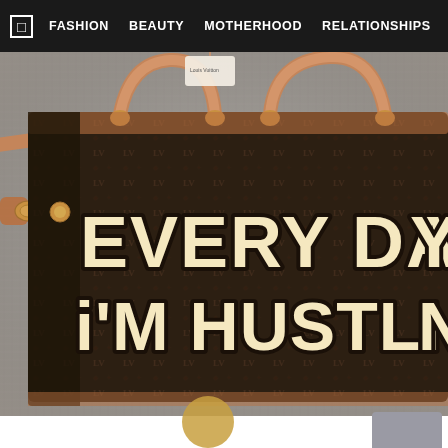FASHION   BEAUTY   MOTHERHOOD   RELATIONSHIPS   LIFESTY...
[Figure (photo): A Louis Vuitton monogram tote bag with custom graffiti-style text painted on the front reading 'EVERY DAY I'M HUSTLIN' in large black outlined letters with cream fill. The bag has tan/brown leather handles and hardware, placed on a fuzzy grey surface.]